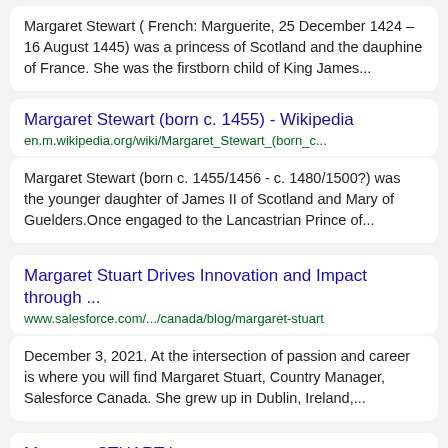Margaret Stewart ( French: Marguerite, 25 December 1424 – 16 August 1445) was a princess of Scotland and the dauphine of France. She was the firstborn child of King James...
Margaret Stewart (born c. 1455) - Wikipedia
en.m.wikipedia.org/wiki/Margaret_Stewart_(born_c...
Margaret Stewart (born c. 1455/1456 - c. 1480/1500?) was the younger daughter of James II of Scotland and Mary of Guelders.Once engaged to the Lancastrian Prince of...
Margaret Stuart Drives Innovation and Impact through ...
www.salesforce.com/.../canada/blog/margaret-stuart
December 3, 2021. At the intersection of passion and career is where you will find Margaret Stuart, Country Manager, Salesforce Canada. She grew up in Dublin, Ireland,...
Margaret STUART b...